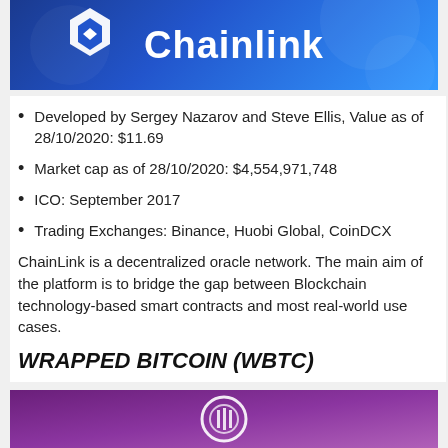[Figure (photo): Chainlink logo and brand banner with blue gradient background, white hexagon logo and Chainlink text]
Developed by Sergey Nazarov and Steve Ellis, Value as of 28/10/2020: $11.69
Market cap as of 28/10/2020: $4,554,971,748
ICO: September 2017
Trading Exchanges: Binance, Huobi Global, CoinDCX
ChainLink is a decentralized oracle network. The main aim of the platform is to bridge the gap between Blockchain technology-based smart contracts and most real-world use cases.
WRAPPED BITCOIN (WBTC)
[Figure (photo): Wrapped Bitcoin (WBTC) logo banner with purple gradient background]